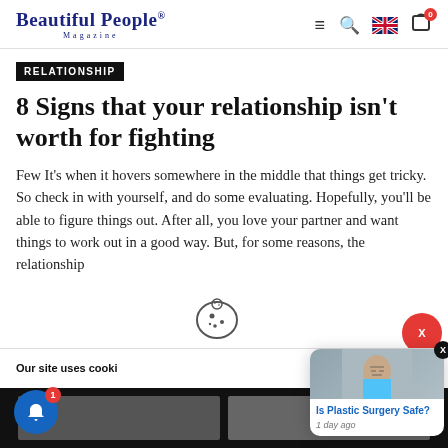Beautiful People® Magazine
RELATIONSHIP
8 Signs that your relationship isn't worth for fighting
Few It's when it hovers somewhere in the middle that things get tricky. So check in with yourself, and do some evaluating. Hopefully, you'll be able to figure things out. After all, you love your partner and want things to work out in a good way. But, for some reasons, the relationship
Our site uses cooki
[Figure (screenshot): Popup advertisement showing 'Is Plastic Surgery Safe?' with a photo of a face and surgical markings, timestamped '1 day ago']